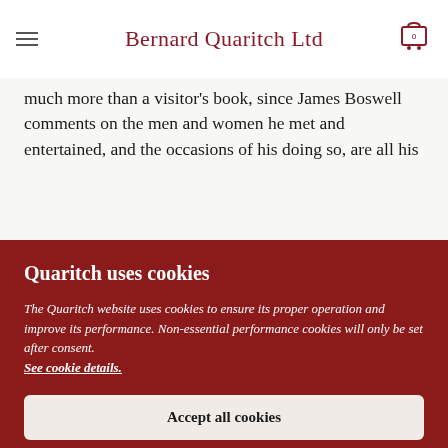Bernard Quaritch Ltd
much more than a visitor's book, since James Boswell comments on the men and women he met and entertained, and the occasions of his doing so, are all his
Quaritch uses cookies
The Quaritch website uses cookies to ensure its proper operation and improve its performance. Non-essential performance cookies will only be set after consent. See cookie details.
Accept all cookies
Reject non-essential